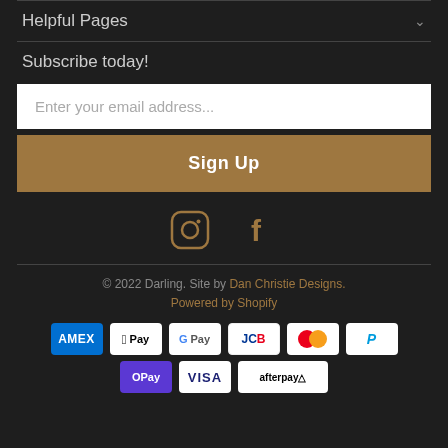Helpful Pages
Subscribe today!
Enter your email address...
Sign Up
[Figure (illustration): Instagram and Facebook social media icons in gold/brown color]
© 2022 Darling. Site by Dan Christie Designs. Powered by Shopify
[Figure (infographic): Payment method badges: American Express, Apple Pay, Google Pay, JCB, Mastercard, PayPal, OPay, Visa, Afterpay]